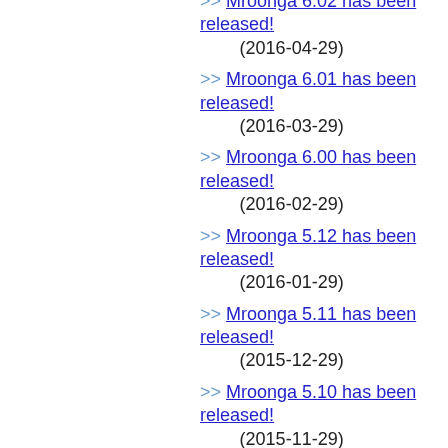>> Mroonga 6.02 has been released! (2016-04-29)
>> Mroonga 6.01 has been released! (2016-03-29)
>> Mroonga 6.00 has been released! (2016-02-29)
>> Mroonga 5.12 has been released! (2016-01-29)
>> Mroonga 5.11 has been released! (2015-12-29)
>> Mroonga 5.10 has been released! (2015-11-29)
>> Mroonga 5.09 has been released! (2015-10-29)
>> Mroonga 5.08 has been released! (2015-09-29)